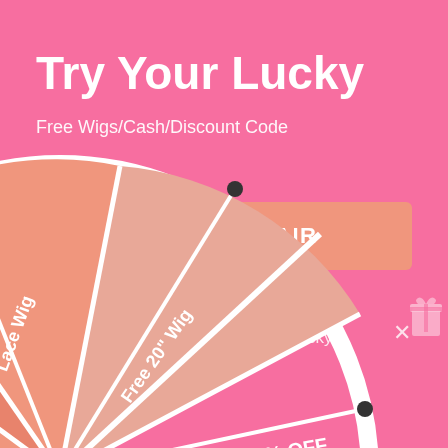Try Your Lucky
Free Wigs/Cash/Discount Code
WIN FREE HAIR
No, I don't feel lucky
[Figure (infographic): Partially visible spinning prize wheel with segments labeled '18" Lace Wig', 'Free 20" Wig', '5% OFF' in shades of pink/salmon/mauve, with white dividers and black dot pivot points. A small gift icon is partially visible at the right edge.]